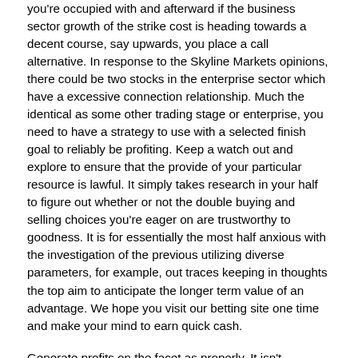you're occupied with and afterward if the business sector growth of the strike cost is heading towards a decent course, say upwards, you place a call alternative. In response to the Skyline Markets opinions, there could be two stocks in the enterprise sector which have a excessive connection relationship. Much the identical as some other trading stage or enterprise, you need to have a strategy to use with a selected finish goal to reliably be profiting. Keep a watch out and explore to ensure that the provide of your particular resource is lawful. It simply takes research in your half to figure out whether or not the double buying and selling choices you're eager on are trustworthy to goodness. It is for essentially the most half anxious with the investigation of the previous utilizing diverse parameters, for example, out traces keeping in thoughts the top aim to anticipate the longer term value of an advantage. We hope you visit our betting site one time and make your mind to earn quick cash.
Generate profits on the facet as properly. It isn't completely necessary to take help from them as they charge lot of money with some further reduce of successful wager. In the place you bet for the possibility of it buying either the second or the third position. Bets on the first, second, and third place finishers; every act as a separate wager. However, before you can start raking within the rewards, you could study the fundamentals of inserting a wager in this sport. The hole can be led to